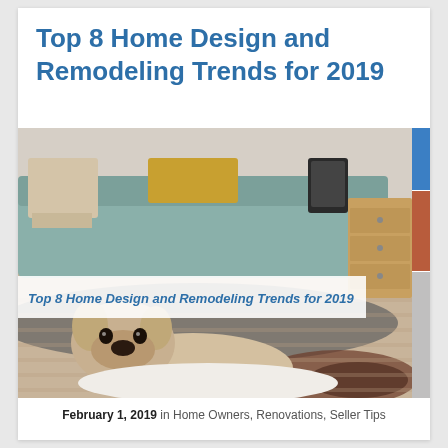Top 8 Home Design and Remodeling Trends for 2019
[Figure (photo): Interior room photo showing a French bulldog lying on a white blanket on a dog bed, with a teal/grey sofa, wooden dresser, rugs, and a tablet visible in the background. An overlay banner reads 'Top 8 Home Design and Remodeling Trends for 2019'.]
February 1, 2019 in Home Owners, Renovations, Seller Tips